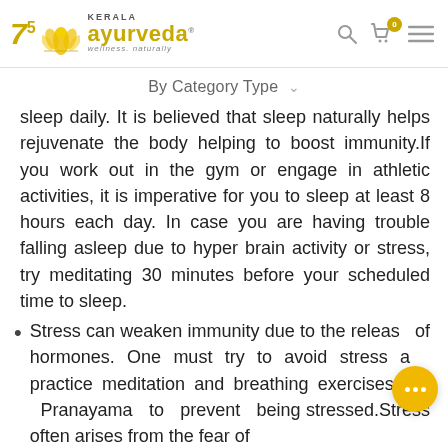Kerala Ayurveda — wellness. naturally
By Category Type
sleep daily. It is believed that sleep naturally helps rejuvenate the body helping to boost immunity.If you work out in the gym or engage in athletic activities, it is imperative for you to sleep at least 8 hours each day. In case you are having trouble falling asleep due to hyper brain activity or stress, try meditating 30 minutes before your scheduled time to sleep.
Stress can weaken immunity due to the release of hormones. One must try to avoid stress and practice meditation and breathing exercises like Pranayama to prevent being stressed.Stress often arises from the fear of